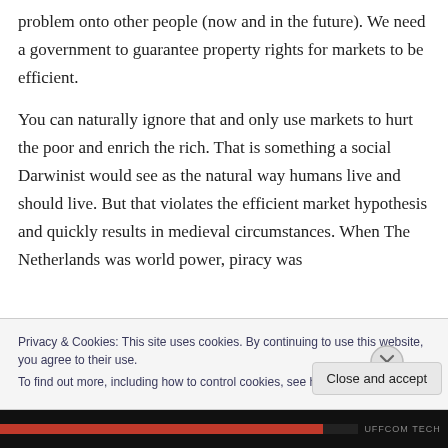problem onto other people (now and in the future). We need a government to guarantee property rights for markets to be efficient.
You can naturally ignore that and only use markets to hurt the poor and enrich the rich. That is something a social Darwinist would see as the natural way humans live and should live. But that violates the efficient market hypothesis and quickly results in medieval circumstances. When The Netherlands was world power, piracy was
Privacy & Cookies: This site uses cookies. By continuing to use this website, you agree to their use.
To find out more, including how to control cookies, see here: Cookie Policy